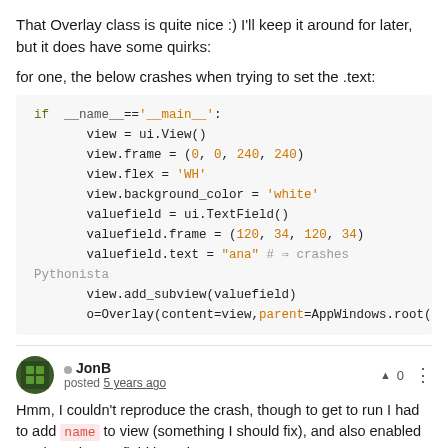That Overlay class is quite nice :) I'll keep it around for later, but it does have some quirks:
for one, the below crashes when trying to set the .text:
[Figure (screenshot): Python code block showing: if __name__=='__main__': view = ui.View(), view.frame = (0, 0, 240, 240), view.flex = 'WH', view.background_color = 'white', valuefield = ui.TextField(), valuefield.frame = (120, 34, 120, 34), valuefield.text = "ana" # => crashes Pythonista, view.add_subview(valuefield), o=Overlay(content=view,parent=AppWindows.root(]
JonB posted 5 years ago
Hmm, I couldn't reproduce the crash, though to get to run I had to add name to view (something I should fix), and also enabled touch so the textfield is active.